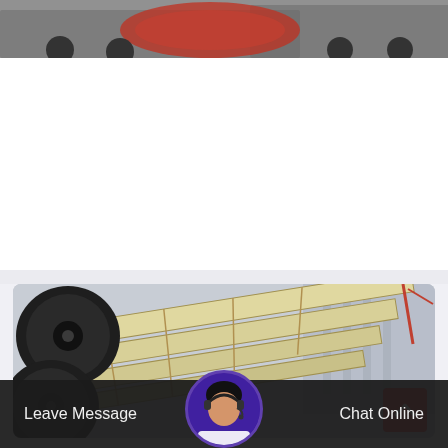[Figure (photo): Top cropped photo showing industrial conveyor belt equipment on a truck, with an orange/red component visible]
Shopsmith Tools Amp Workshop Equipment For Sale Ebay
Shopsmith molder head with 3 sets of blades 505553 cutter 3995 new shopsmith 12121 ceramic belt 3 x 21 36grit 5 out of 5 stars 2 total ratings 2....
READ MORE  >
[Figure (photo): Industrial conveyor belt machinery with large black rollers and yellow/cream colored conveyor frame structure, photographed outdoors]
Leave Message
Chat Online